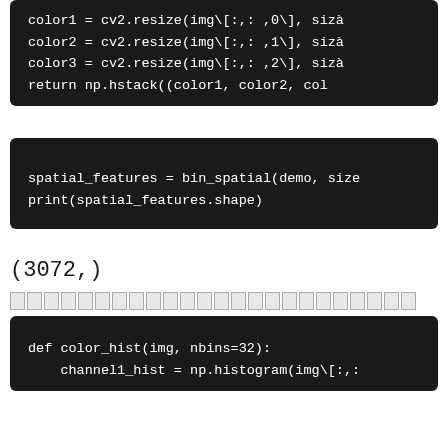[Figure (screenshot): Dark code block showing Python code: color1 = cv2.resize(img[:,0], size), color2 = cv2.resize(img[:,1], size), color3 = cv2.resize(img[:,2], size), return np.hstack((color1, color2, col...]
[Figure (screenshot): Dark code block showing Python code: spatial_features = bin_spatial(demo, size), print(spatial_features.shape)]
(3072,)
[Figure (other): A row of small gray/outlined rectangles forming a separator or progress indicator]
[Figure (screenshot): Dark code block showing Python code: def color_hist(img, nbins=32): channel1_hist = np.histogram(img[:,... channel2_hist = np.histogram(img[:,... channel3_hist = np.histogram(img[:,...]]